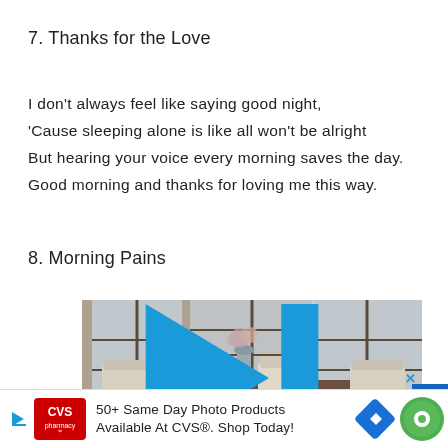7. Thanks for the Love
I don’t always feel like saying good night,
‘Cause sleeping alone is like all won’t be alright
But hearing your voice every morning saves the day.
Good morning and thanks for loving me this way.
8. Morning Pains
[Figure (photo): Advertisement image showing a dining room with upholstered chairs around a wooden table, large windows in the background, with a play/skip icon and X button in the top right corner.]
50+ Same Day Photo Products Available At CVS®. Shop Today!